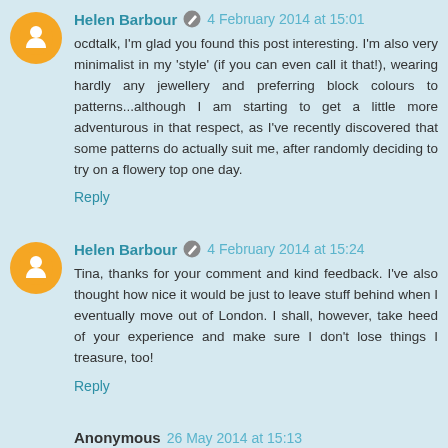Helen Barbour · 4 February 2014 at 15:01
ocdtalk, I'm glad you found this post interesting. I'm also very minimalist in my 'style' (if you can even call it that!), wearing hardly any jewellery and preferring block colours to patterns...although I am starting to get a little more adventurous in that respect, as I've recently discovered that some patterns do actually suit me, after randomly deciding to try on a flowery top one day.
Reply
Helen Barbour · 4 February 2014 at 15:24
Tina, thanks for your comment and kind feedback. I've also thought how nice it would be just to leave stuff behind when I eventually move out of London. I shall, however, take heed of your experience and make sure I don't lose things I treasure, too!
Reply
Anonymous 26 May 2014 at 15:13